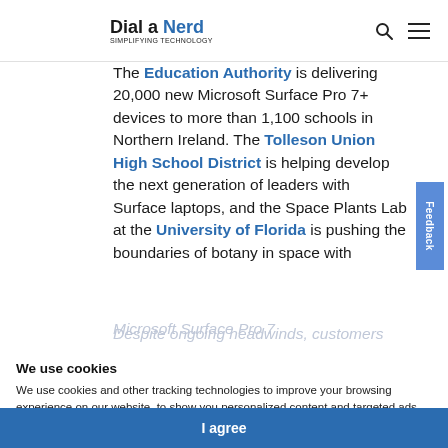Dial a Nerd – SIMPLIFYING TECHNOLOGY
The Education Authority is delivering 20,000 new Microsoft Surface Pro 7+ devices to more than 1,100 schools in Northern Ireland. The Tolleson Union High School District is helping develop the next generation of leaders with Surface laptops, and the Space Plants Lab at the University of Florida is pushing the boundaries of botany in space with
Microsoft Surface Pro 7
Despite ongoing headwinds, customers continue to innovate in impressive ways. With the power of the Microsoft cloud…… to better serve their customers and reach their
We use cookies
We use cookies and other tracking technologies to improve your browsing experience on our website, to show you personalized content and targeted ads, to analyze our website traffic, and to understand where our visitors are coming from.
I agree